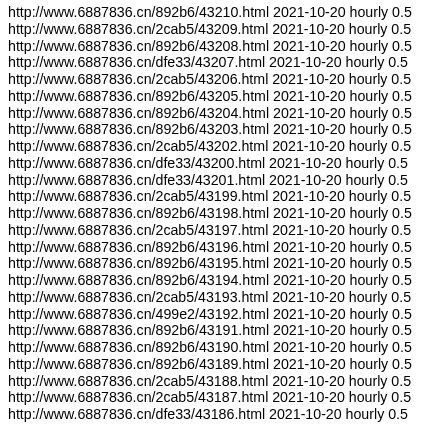http://www.6887836.cn/892b6/43210.html 2021-10-20 hourly 0.5
http://www.6887836.cn/2cab5/43209.html 2021-10-20 hourly 0.5
http://www.6887836.cn/892b6/43208.html 2021-10-20 hourly 0.5
http://www.6887836.cn/dfe33/43207.html 2021-10-20 hourly 0.5
http://www.6887836.cn/2cab5/43206.html 2021-10-20 hourly 0.5
http://www.6887836.cn/892b6/43205.html 2021-10-20 hourly 0.5
http://www.6887836.cn/892b6/43204.html 2021-10-20 hourly 0.5
http://www.6887836.cn/892b6/43203.html 2021-10-20 hourly 0.5
http://www.6887836.cn/2cab5/43202.html 2021-10-20 hourly 0.5
http://www.6887836.cn/dfe33/43200.html 2021-10-20 hourly 0.5
http://www.6887836.cn/dfe33/43201.html 2021-10-20 hourly 0.5
http://www.6887836.cn/2cab5/43199.html 2021-10-20 hourly 0.5
http://www.6887836.cn/892b6/43198.html 2021-10-20 hourly 0.5
http://www.6887836.cn/2cab5/43197.html 2021-10-20 hourly 0.5
http://www.6887836.cn/892b6/43196.html 2021-10-20 hourly 0.5
http://www.6887836.cn/892b6/43195.html 2021-10-20 hourly 0.5
http://www.6887836.cn/892b6/43194.html 2021-10-20 hourly 0.5
http://www.6887836.cn/2cab5/43193.html 2021-10-20 hourly 0.5
http://www.6887836.cn/499e2/43192.html 2021-10-20 hourly 0.5
http://www.6887836.cn/892b6/43191.html 2021-10-20 hourly 0.5
http://www.6887836.cn/892b6/43190.html 2021-10-20 hourly 0.5
http://www.6887836.cn/892b6/43189.html 2021-10-20 hourly 0.5
http://www.6887836.cn/2cab5/43188.html 2021-10-20 hourly 0.5
http://www.6887836.cn/2cab5/43187.html 2021-10-20 hourly 0.5
http://www.6887836.cn/dfe33/43186.html 2021-10-20 hourly 0.5